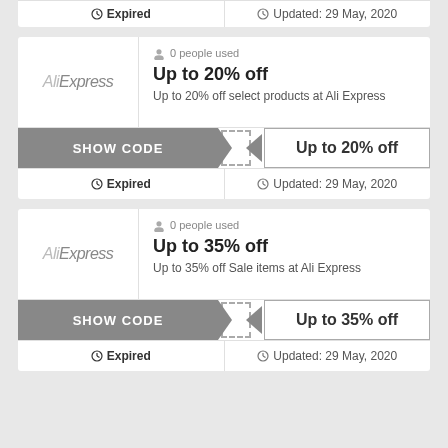Expired | Updated: 29 May, 2020
[Figure (infographic): AliExpress coupon card: 0 people used, Up to 20% off, Up to 20% off select products at Ali Express, SHOW CODE button, Up to 20% off code display, Expired status, Updated: 29 May 2020]
[Figure (infographic): AliExpress coupon card: 0 people used, Up to 35% off, Up to 35% off Sale items at Ali Express, SHOW CODE button, Up to 35% off code display, Expired status, Updated: 29 May 2020]